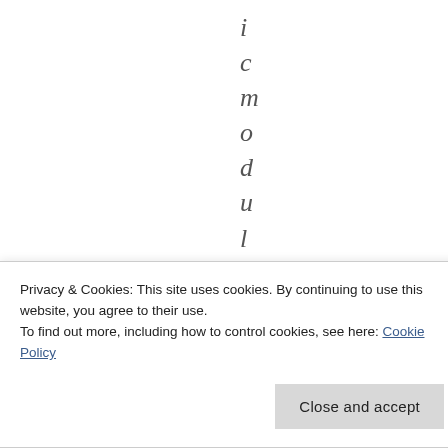i c m o d u l e , a 3
•
Privacy & Cookies: This site uses cookies. By continuing to use this website, you agree to their use.
To find out more, including how to control cookies, see here: Cookie Policy
Close and accept